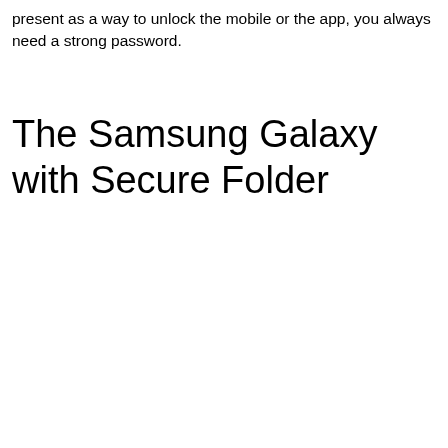present as a way to unlock the mobile or the app, you always need a strong password.
The Samsung Galaxy with Secure Folder